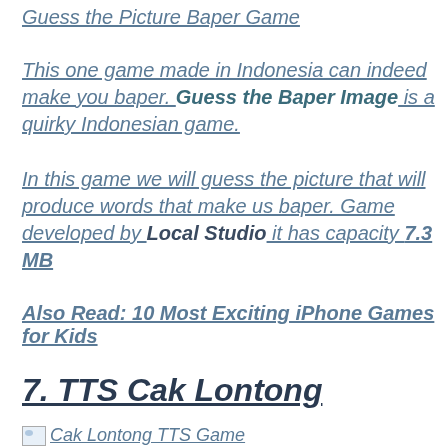Guess the Picture Baper Game
This one game made in Indonesia can indeed make you baper. Guess the Baper Image is a quirky Indonesian game.
In this game we will guess the picture that will produce words that make us baper. Game developed by Local Studio it has capacity 7.3 MB
Also Read: 10 Most Exciting iPhone Games for Kids
7. TTS Cak Lontong
[Figure (photo): Cak Lontong TTS Game image placeholder]